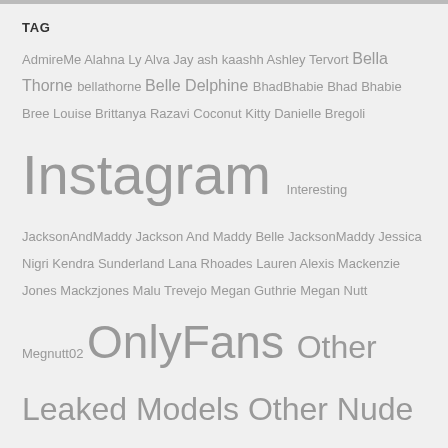TAG
AdmireMe Alahna Ly Alva Jay ash kaashh Ashley Tervort Bella Thorne bellathorne Belle Delphine BhadBhabie Bhad Bhabie Bree Louise Brittanya Razavi Coconut Kitty Danielle Bregoli Instagram Interesting JacksonAndMaddy Jackson And Maddy Belle JacksonMaddy Jessica Nigri Kendra Sunderland Lana Rhoades Lauren Alexis Mackenzie Jones Mackzjones Malu Trevejo Megan Guthrie Megan Nutt Megnutt02 OnlyFans Other Leaked Models Other Nude Models Patreon Porn pornstar Private Snapchat TikTok TikTok Nude Twitch Twitter Tyga Video Videos webcam Youtube
MUST WATCH
[Figure (photo): Partial image of a person with NUDOSTAR logo badge in bottom right corner]